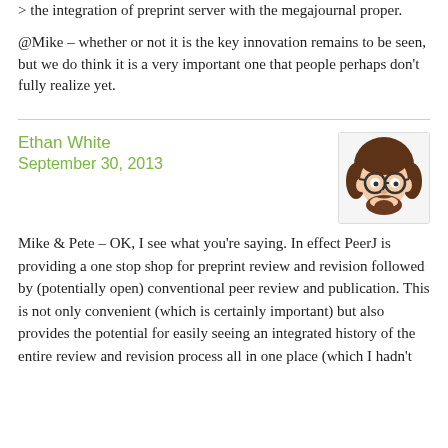> the integration of preprint server with the megajournal proper.
@Mike – whether or not it is the key innovation remains to be seen, but we do think it is a very important one that people perhaps don't fully realize yet.
Ethan White
September 30, 2013
[Figure (illustration): Cartoon avatar of a person with brown hair, glasses, and a beard, in a South Park style illustration.]
Mike & Pete – OK, I see what you're saying. In effect PeerJ is providing a one stop shop for preprint review and revision followed by (potentially open) conventional peer review and publication. This is not only convenient (which is certainly important) but also provides the potential for easily seeing an integrated history of the entire review and revision process all in one place (which I hadn't